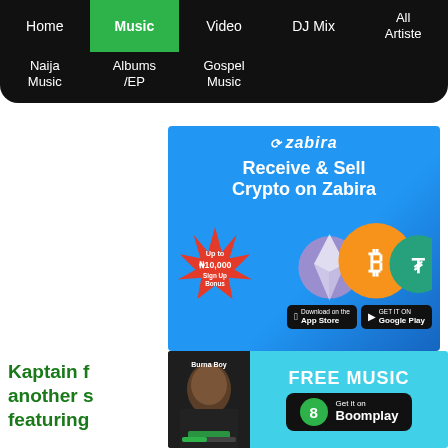Home | Music | Video | DJ Mix | All Artiste | Naija Music | Albums/EP | Gospel Music
[Figure (infographic): Zabira cryptocurrency ad banner: Receive & Sell Crypto on Zabira. Up to ₦10,000 Sign Up Bonus. App Store and Google Play badges. Crypto coin icons (Ethereum, Bitcoin, Tether).]
[Figure (infographic): Boomplay FREE MUSIC ad with Burna Boy thumbnail image and Get it on Boomplay button.]
Kaptain f... another s... featuring...